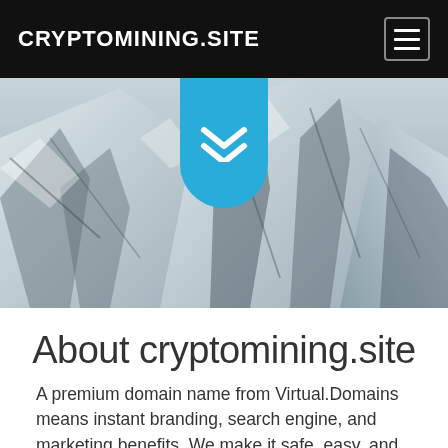CRYPTOMINING.SITE
[Figure (photo): Snow-covered mountain slopes as a hero banner image, with a teal/blue chevron-shaped down-arrow button overlaid in the center top]
About cryptomining.site
A premium domain name from Virtual.Domains means instant branding, search engine, and marketing benefits. We make it safe, easy, and affordable for you to own  cryptomining.site right